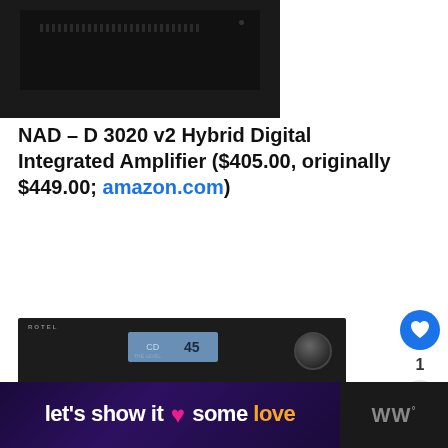[Figure (photo): Partial view of a black NAD D 3020 v2 amplifier box from above, showing ventilation grille and a small button on the right side.]
NAD – D 3020 v2 Hybrid Digital Integrated Amplifier ($405.00, originally $449.00; amazon.com)
[Figure (photo): Rotel integrated amplifier/receiver front panel in black, showing brand name, LCD display reading 'CD 45', multiple control buttons, USB port, and a large volume knob on the right.]
1
[Figure (screenshot): WHAT'S NEXT promotional box with thumbnail image and text 'The Best Audio Deals...' with a blue progress/link bar.]
[Figure (photo): Banner advertisement with dark purple gradient background reading "let's show it some love" with a pink heart graphic and orange colored word 'love', alongside a logo on the right.]